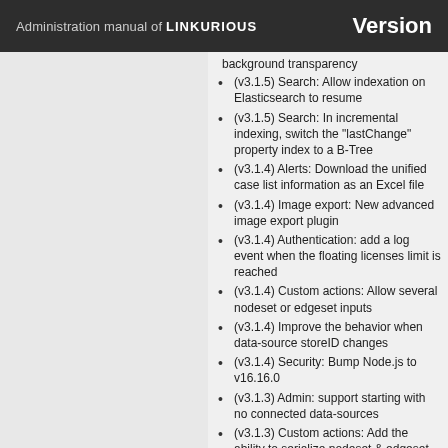Administration manual of LINKURIOUS — Version
background transparency
(v3.1.5) Search: Allow indexation on Elasticsearch to resume
(v3.1.5) Search: In incremental indexing, switch the "lastChange" property index to a B-Tree
(v3.1.4) Alerts: Download the unified case list information as an Excel file
(v3.1.4) Image export: New advanced image export plugin
(v3.1.4) Authentication: add a log event when the floating licenses limit is reached
(v3.1.4) Custom actions: Allow several nodeset or edgeset inputs
(v3.1.4) Improve the behavior when data-source storeID changes
(v3.1.4) Security: Bump Node.js to v16.16.0
(v3.1.3) Admin: support starting with no connected data-sources
(v3.1.3) Custom actions: Add the ability to serialize nodeset & edgeset by property value
(v3.1.3) Login page: center the login form